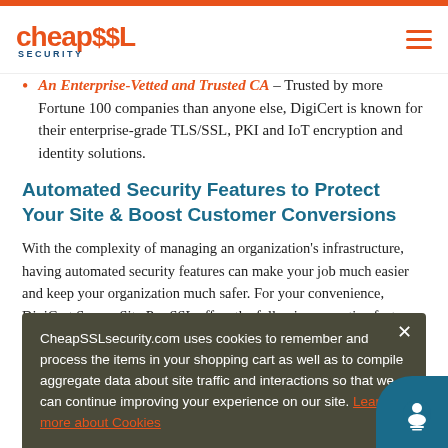CheapSSL Security logo and navigation hamburger menu
An Enterprise-Vetted and Trusted CA – Trusted by more Fortune 100 companies than anyone else, DigiCert is known for their enterprise-grade TLS/SSL, PKI and IoT encryption and identity solutions.
Automated Security Features to Protect Your Site & Boost Customer Conversions
With the complexity of managing an organization's infrastructure, having automated security features can make your job much easier and keep your organization much safer. For your convenience, DigiCert Secure Site Pro SSL offers the following proactive features:
CheapSSLsecurity.com uses cookies to remember and process the items in your shopping cart as well as to compile aggregate data about site traffic and interactions so that we can continue improving your experience on our site. Learn more about Cookies